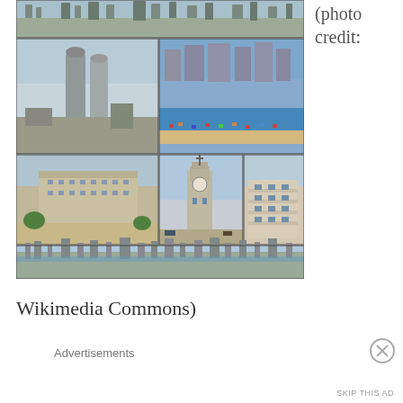(photo credit:
[Figure (photo): Collage of Tel Aviv city photos showing skyline, beach, city hall, clock tower, Bauhaus buildings, and panoramic city view]
Wikimedia Commons)
Advertisements